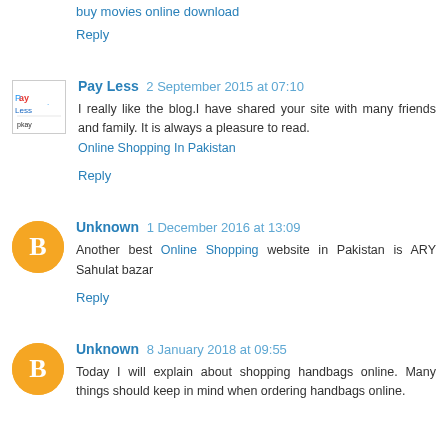buy movies online download
Reply
Pay Less  2 September 2015 at 07:10
I really like the blog.I have shared your site with many friends and family. It is always a pleasure to read.
Online Shopping In Pakistan
Reply
Unknown  1 December 2016 at 13:09
Another best Online Shopping website in Pakistan is ARY Sahulat bazar
Reply
Unknown  8 January 2018 at 09:55
Today I will explain about shopping handbags online. Many things should keep in mind when ordering handbags online.